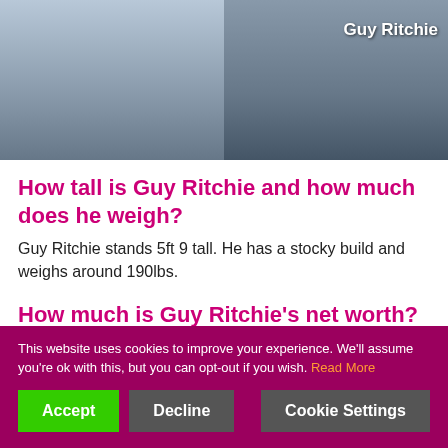[Figure (photo): Two side-by-side photos of men. The right photo is labeled 'Guy Ritchie' in white text.]
How tall is Guy Ritchie and how much does he weigh?
Guy Ritchie stands 5ft 9 tall. He has a stocky build and weighs around 190lbs.
How much is Guy Ritchie's net worth?
Guy Ritchie has a whopping net worth of $100 million
This website uses cookies to improve your experience. We'll assume you're ok with this, but you can opt-out if you wish. Read More